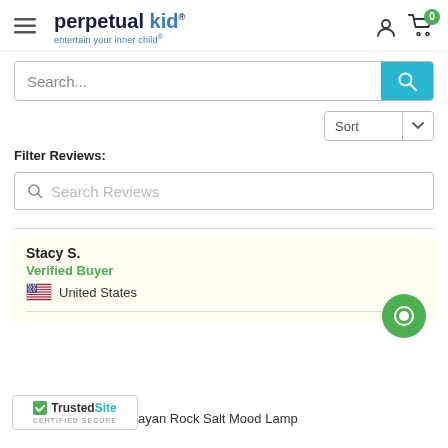perpetual kid - entertain your inner child
[Figure (screenshot): Search bar with teal search button]
Filter Reviews:
[Figure (screenshot): Search Reviews input field]
Stacy S.
Verified Buyer
United States
ayan Rock Salt Mood Lamp
[Figure (logo): TrustedSite Certified Secure badge]